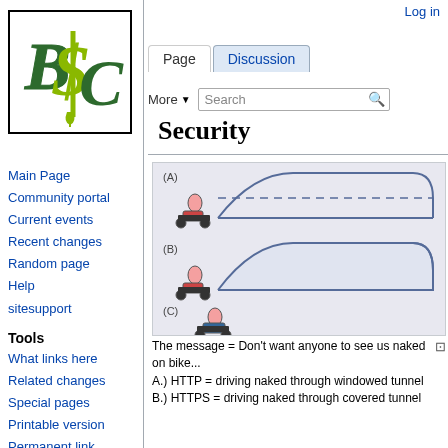Log in
[Figure (logo): BSC logo with stylized letters B, $, C in dark green and lime green with a dollar sign motif]
Page  Discussion  More▼  Search
Security
Main Page
Community portal
Current events
Recent changes
Random page
Help
sitesupport
Tools
What links here
Related changes
Special pages
Printable version
Permanent link
Page information
[Figure (illustration): Three panel illustration showing security analogy: (A) motorcyclist entering a tunnel with dashed lines showing visibility (windowed/HTTP), (B) motorcyclist entering a solid covered tunnel (HTTPS), (C) motorcyclist riding in the open with no tunnel]
The message = Don't want anyone to see us naked on bike...
A.) HTTP = driving naked through windowed tunnel
B.) HTTPS = driving naked through covered tunnel